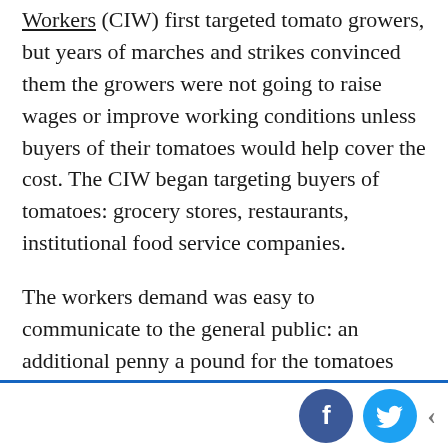Workers (CIW) first targeted tomato growers, but years of marches and strikes convinced them the growers were not going to raise wages or improve working conditions unless buyers of their tomatoes would help cover the cost. The CIW began targeting buyers of tomatoes: grocery stores, restaurants, institutional food service companies.

The workers demand was easy to communicate to the general public: an additional penny a pound for the tomatoes they picked. At the time pickers were earning about 1.5 cents per pound, not much more than they had collected 25 years before. To put that penny in context, we pay $1 to $4 per pound in the grocery store for those tomatoes. An extra penny a pound would cost the average family